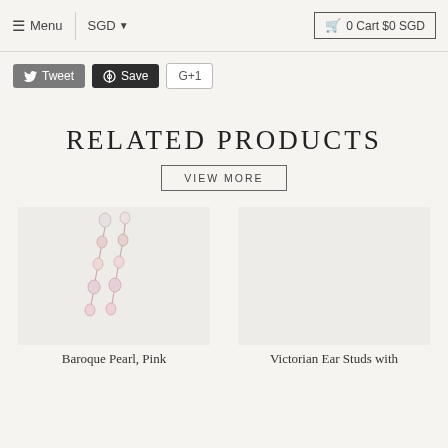≡ Menu | SGD ▾  🛒 0 Cart $0 SGD
Tweet  Save  G+1
RELATED PRODUCTS
VIEW MORE
[Figure (photo): Baroque Pearl Pink earrings product photo - delicate drop earrings with pink pearl beads on white background]
Baroque Pearl, Pink
Victorian Ear Studs with